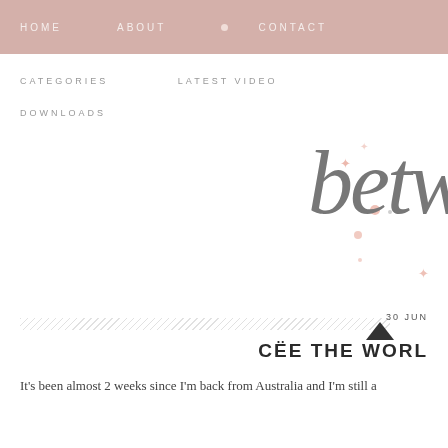HOME   ABOUT   CONTACT
CATEGORIES   LATEST VIDEO   DOWNLOADS
[Figure (illustration): Decorative script text reading 'betw' (partially visible, cropped) with scattered pink stars and dots in a whimsical blog header style]
30 JUN
CËE THE WORL
It's been almost 2 weeks since I'm back from Australia and I'm still a